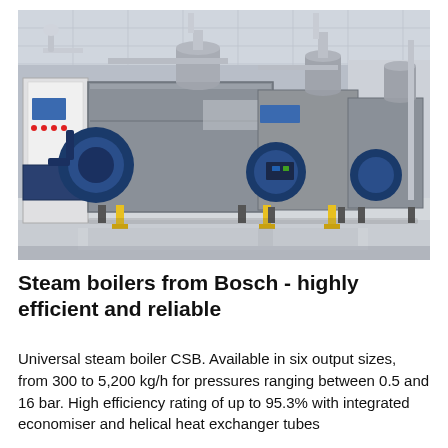[Figure (photo): Industrial boiler room showing three Bosch universal steam boilers (CSB) in a row, finished in silver/grey casing with blue burner assemblies and piping, control panels on left, yellow gas connections at the bottom, in a clean white facility.]
Steam boilers from Bosch - highly efficient and reliable
Universal steam boiler CSB. Available in six output sizes, from 300 to 5,200 kg/h for pressures ranging between 0.5 and 16 bar. High efficiency rating of up to 95.3% with integrated economiser and helical heat exchanger tubes